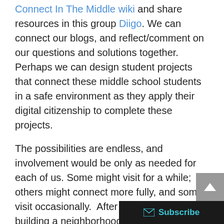Connect In The Middle wiki and share resources in this group Diigo. We can connect our blogs, and reflect/comment on our questions and solutions together. Perhaps we can design student projects that connect these middle school students in a safe environment as they apply their digital citizenship to complete these projects.
The possibilities are endless, and involvement would be only as needed for each of us. Some might visit for a while; others might connect more fully, and some visit occasionally.  After all, we would be building a neighborhood that we visit for different purposes.
The first questions I'm considering, has